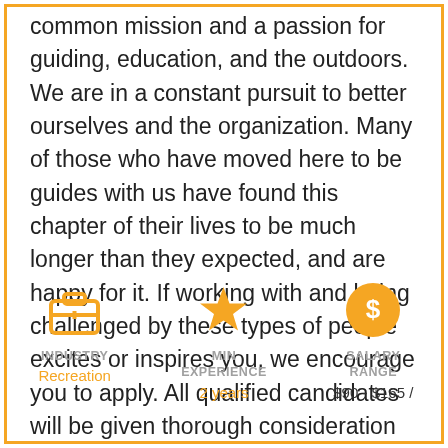common mission and a passion for guiding, education, and the outdoors. We are in a constant pursuit to better ourselves and the organization. Many of those who have moved here to be guides with us have found this chapter of their lives to be much longer than they expected, and are happy for it. If working with and being challenged by these types of people excites or inspires you, we encourage you to apply. All qualified candidates will be given thorough consideration and evaluation.
[Figure (infographic): Three info icons: briefcase for Industry (Recreation), star for Min Experience (2 years), dollar sign circle for Salary Range ($90 - $165 /)]